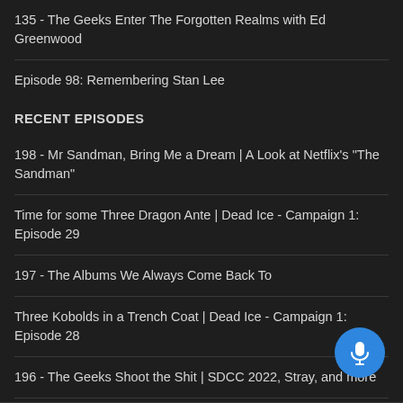135 - The Geeks Enter The Forgotten Realms with Ed Greenwood
Episode 98: Remembering Stan Lee
RECENT EPISODES
198 - Mr Sandman, Bring Me a Dream | A Look at Netflix's "The Sandman"
Time for some Three Dragon Ante | Dead Ice - Campaign 1: Episode 29
197 - The Albums We Always Come Back To
Three Kobolds in a Trench Coat | Dead Ice - Campaign 1: Episode 28
196 - The Geeks Shoot the Shit | SDCC 2022, Stray, and more
195 - The Boys Get Into Stranger Things | A Look at The Boys & Stranger Things S4 Vol 2.